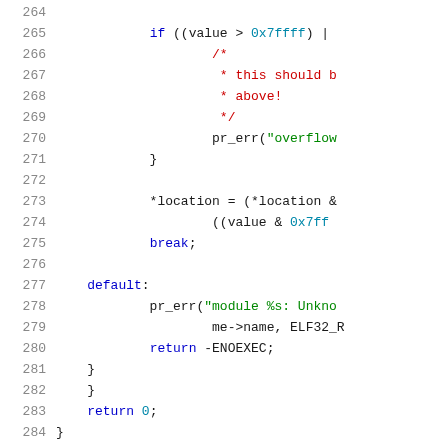[Figure (screenshot): Source code snippet showing C code lines 264-284 with syntax highlighting. Contains an if statement checking value > 0x7ffff, a comment block, pr_err call, location assignment, break, default case with pr_err and return -ENOEXEC, closing braces, and return 0.]